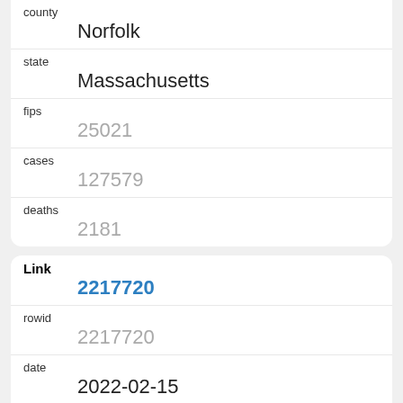| county | Norfolk |
| state | Massachusetts |
| fips | 25021 |
| cases | 127579 |
| deaths | 2181 |
| Link | 2217720 |
| rowid | 2217720 |
| date | 2022-02-15 |
| county | Norfolk |
| state | Massachusetts |